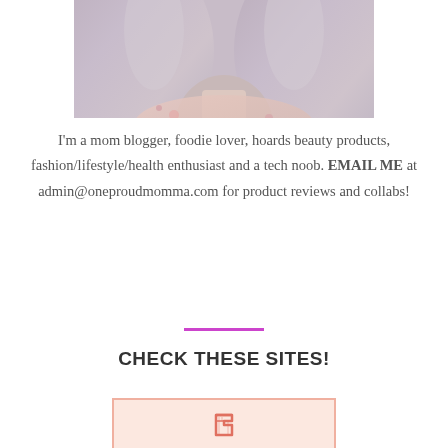[Figure (photo): Portrait photo of a woman with long gray-lavender hair, wearing a floral top. Only the lower half of the face/neck and hair visible, cropped at top.]
I'm a mom blogger, foodie lover, hoards beauty products, fashion/lifestyle/health enthusiast and a tech noob. EMAIL ME at admin@oneproudmomma.com for product reviews and collabs!
CHECK THESE SITES!
[Figure (logo): Logo inside a pink/salmon bordered box with a light peach background, partially visible at bottom of page.]